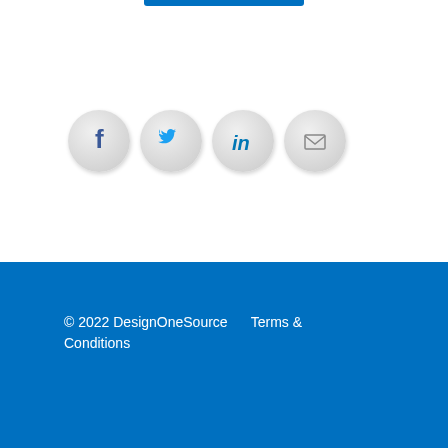[Figure (illustration): Four circular social media icon buttons: Facebook (blue F), Twitter (blue bird), LinkedIn (blue in), and Email (envelope icon), arranged horizontally on a white background]
© 2022 DesignOneSource     Terms & Conditions